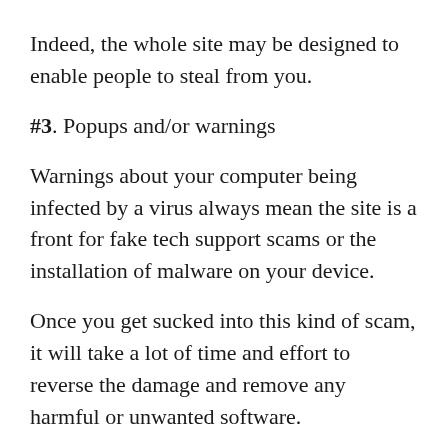Indeed, the whole site may be designed to enable people to steal from you.
#3. Popups and/or warnings
Warnings about your computer being infected by a virus always mean the site is a front for fake tech support scams or the installation of malware on your device.
Once you get sucked into this kind of scam, it will take a lot of time and effort to reverse the damage and remove any harmful or unwanted software.
Just remember, no legitimate site hosts virus warnings. Once you see one, leave immediately.